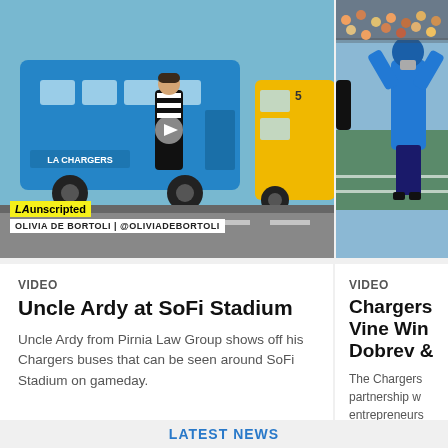[Figure (photo): Photo of a woman in referee outfit near a blue Chargers bus (LAunscripted). OLIVIA DE BORTOLI | @OLIVIADEBORTOLI label overlay.]
[Figure (photo): Photo of a football player at SoFi Stadium, partially visible on the right side.]
VIDEO
Uncle Ardy at SoFi Stadium
Uncle Ardy from Pirnia Law Group shows off his Chargers buses that can be seen around SoFi Stadium on gameday.
VIDEO
Chargers Vine Win Dobrev &
The Chargers partnership w entrepreneurs Hough, to fea SoFi Stadium announcements on the Charge game at SoFi
LATEST NEWS